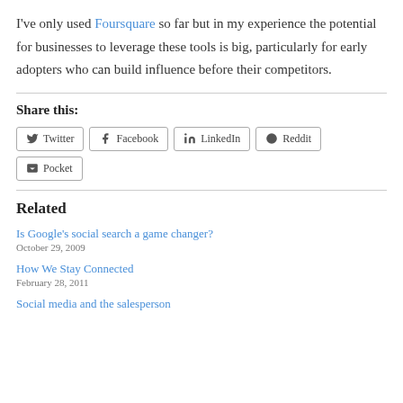I've only used Foursquare so far but in my experience the potential for businesses to leverage these tools is big, particularly for early adopters who can build influence before their competitors.
Share this:
Twitter | Facebook | LinkedIn | Reddit | Pocket
Related
Is Google's social search a game changer?
October 29, 2009
How We Stay Connected
February 28, 2011
Social media and the salesperson